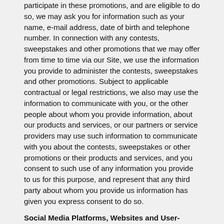participate in these promotions, and are eligible to do so, we may ask you for information such as your name, e-mail address, date of birth and telephone number. In connection with any contests, sweepstakes and other promotions that we may offer from time to time via our Site, we use the information you provide to administer the contests, sweepstakes and other promotions. Subject to applicable contractual or legal restrictions, we also may use the information to communicate with you, or the other people about whom you provide information, about our products and services, or our partners or service providers may use such information to communicate with you about the contests, sweepstakes or other promotions or their products and services, and you consent to such use of any information you provide to us for this purpose, and represent that any third party about whom you provide us information has given you express consent to do so.
Social Media Platforms, Websites and User-Generated Content. Any information, communications, or material of any type or nature that you submit to our Site (including, but not limited to, any of our pages contained on a social media platform or website such as Facebook or Twitter), as well as